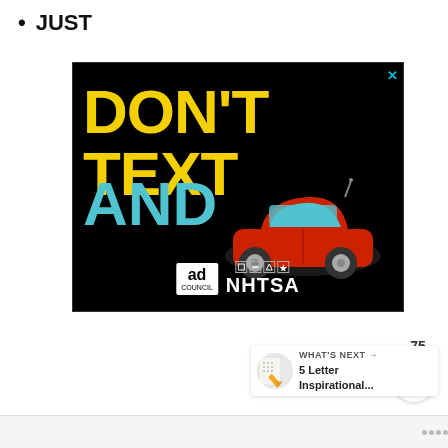JUST
[Figure (other): NHTSA / Ad Council 'Don't Text and Drive' public safety advertisement on black background with yellow 'DON'T TEXT' text, cyan 'AND' text, red car emoji, and logos for Ad Council and NHTSA. Close button (X) in top-right corner.]
[Figure (other): Heart/like button (teal circle with heart icon) and share button, with like count of 75]
75
[Figure (other): WHAT'S NEXT arrow prompt showing '5 Letter Inspirational...' with thumbnail image of a pencil and dotted paper]